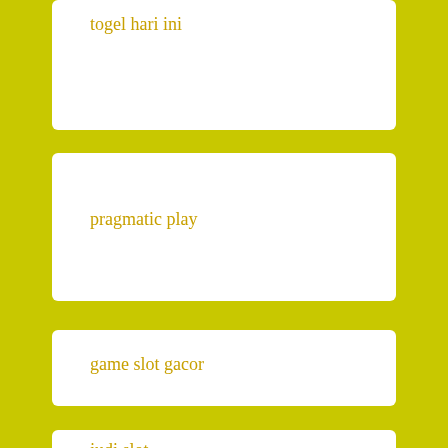togel hari ini
pragmatic play
game slot gacor
judi slot